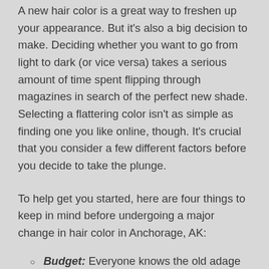A new hair color is a great way to freshen up your appearance. But it's also a big decision to make. Deciding whether you want to go from light to dark (or vice versa) takes a serious amount of time spent flipping through magazines in search of the perfect new shade. Selecting a flattering color isn't as simple as finding one you like online, though. It's crucial that you consider a few different factors before you decide to take the plunge.
To help get you started, here are four things to keep in mind before undergoing a major change in hair color in Anchorage, AK:
Budget: Everyone knows the old adage